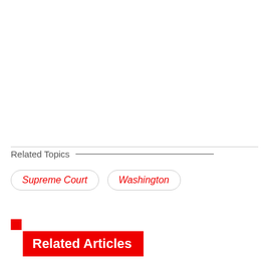Related Topics
Supreme Court
Washington
Related Articles